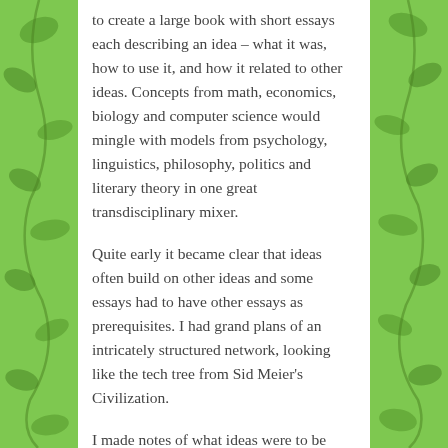to create a large book with short essays each describing an idea – what it was, how to use it, and how it related to other ideas. Concepts from math, economics, biology and computer science would mingle with models from psychology, linguistics, philosophy, politics and literary theory in one great transdisciplinary mixer.
Quite early it became clear that ideas often build on other ideas and some essays had to have other essays as prerequisites. I had grand plans of an intricately structured network, looking like the tech tree from Sid Meier's Civilization.
I made notes of what ideas were to be included, where I could find more detailed information about them, and what other ideas they depended on. I did just about the right amount of planning (ever the planning… considering